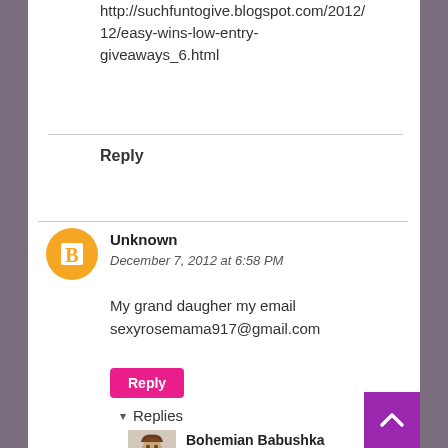http://suchfuntogive.blogspot.com/2012/12/easy-wins-low-entry-giveaways_6.html
Reply
Unknown
December 7, 2012 at 6:58 PM
My grand daugher my email sexyrosemama917@gmail.com
Reply
Replies
[Figure (photo): Bohemian Babushka avatar thumbnail]
Bohemian Babushka
December 7, 2012 at 8:48 PM